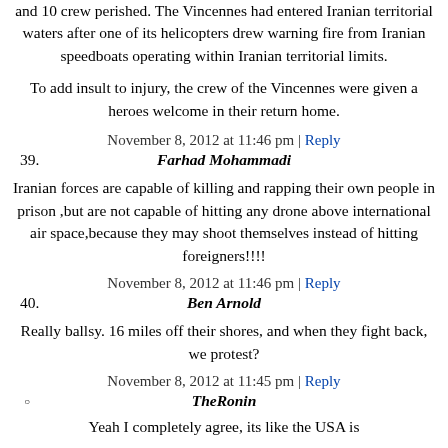and 10 crew perished. The Vincennes had entered Iranian territorial waters after one of its helicopters drew warning fire from Iranian speedboats operating within Iranian territorial limits.
To add insult to injury, the crew of the Vincennes were given a heroes welcome in their return home.
November 8, 2012 at 11:46 pm | Reply
39. Farhad Mohammadi
Iranian forces are capable of killing and rapping their own people in prison ,but are not capable of hitting any drone above international air space,because they may shoot themselves instead of hitting foreigners!!!!
November 8, 2012 at 11:46 pm | Reply
40. Ben Arnold
Really ballsy. 16 miles off their shores, and when they fight back, we protest?
November 8, 2012 at 11:45 pm | Reply
TheRonin
Yeah I completely agree, its like the USA is